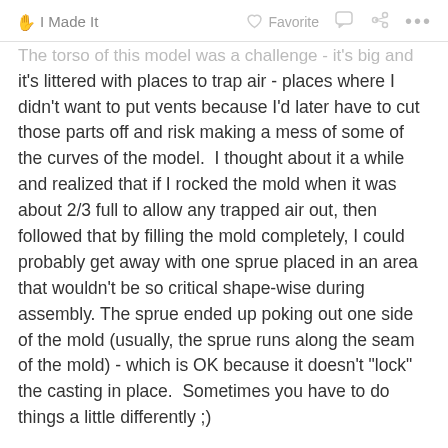I Made It   Favorite   ...
The torso of this model was a challenge - it's big and it's littered with places to trap air - places where I didn't want to put vents because I'd later have to cut those parts off and risk making a mess of some of the curves of the model.  I thought about it a while and realized that if I rocked the mold when it was about 2/3 full to allow any trapped air out, then followed that by filling the mold completely, I could probably get away with one sprue placed in an area that wouldn't be so critical shape-wise during assembly.  The sprue ended up poking out one side of the mold (usually, the sprue runs along the seam of the mold) - which is OK because it doesn't "lock" the casting in place.  Sometimes you have to do things a little differently ;)